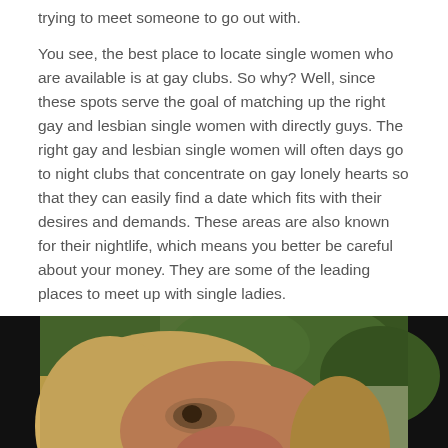trying to meet someone to go out with.
You see, the best place to locate single women who are available is at gay clubs. So why? Well, since these spots serve the goal of matching up the right gay and lesbian single women with directly guys. The right gay and lesbian single women will often days go to night clubs that concentrate on gay lonely hearts so that they can easily find a date which fits with their desires and demands. These areas are also known for their nightlife, which means you better be careful about your money. They are some of the leading places to meet up with single ladies.
[Figure (photo): Close-up photo of a blonde woman smoking a cigarette, with green trees/foliage in the background. The photo has black bars on the left and right sides.]